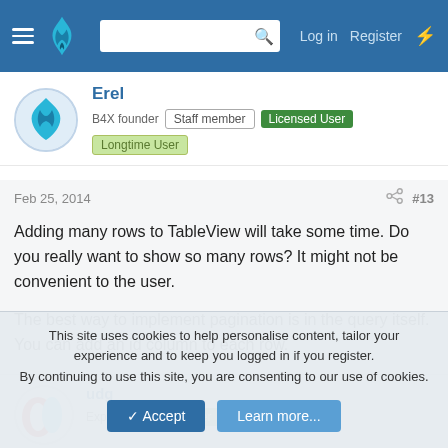Navigation bar with logo, search, Log in, Register
Erel
B4X founder  Staff member  Licensed User  Longtime User
Feb 25, 2014  #13
Adding many rows to TableView will take some time. Do you really want to show so many rows? It might not be convenient to the user.

The best way to implement pagination is in the query itself. You can add an id column to each row.
udg
Expert  Licensed User  Longtime User
This site uses cookies to help personalise content, tailor your experience and to keep you logged in if you register.
By continuing to use this site, you are consenting to our use of cookies.
Accept  Learn more...